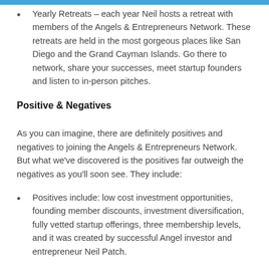Yearly Retreats – each year Neil hosts a retreat with members of the Angels & Entrepreneurs Network. These retreats are held in the most gorgeous places like San Diego and the Grand Cayman Islands. Go there to network, share your successes, meet startup founders and listen to in-person pitches.
Positive & Negatives
As you can imagine, there are definitely positives and negatives to joining the Angels & Entrepreneurs Network. But what we've discovered is the positives far outweigh the negatives as you'll soon see. They include:
Positives include: low cost investment opportunities, founding member discounts, investment diversification, fully vetted startup offerings, three membership levels, and it was created by successful Angel investor and entrepreneur Neil Patch.